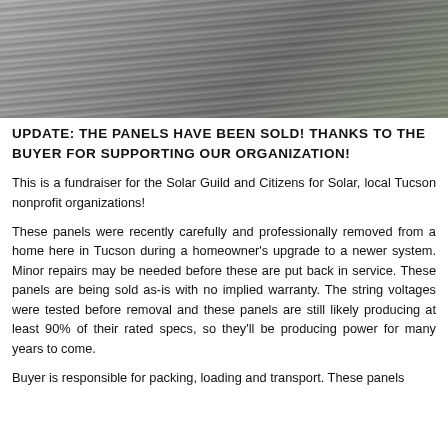[Figure (photo): Stacked solar panels leaning against wooden pallets outdoors on dirt/gravel ground]
UPDATE: THE PANELS HAVE BEEN SOLD! THANKS TO THE BUYER FOR SUPPORTING OUR ORGANIZATION!
This is a fundraiser for the Solar Guild and Citizens for Solar, local Tucson nonprofit organizations!
These panels were recently carefully and professionally removed from a home here in Tucson during a homeowner's upgrade to a newer system. Minor repairs may be needed before these are put back in service. These panels are being sold as-is with no implied warranty. The string voltages were tested before removal and these panels are still likely producing at least 90% of their rated specs, so they'll be producing power for many years to come.
Buyer is responsible for packing, loading and transport. These panels